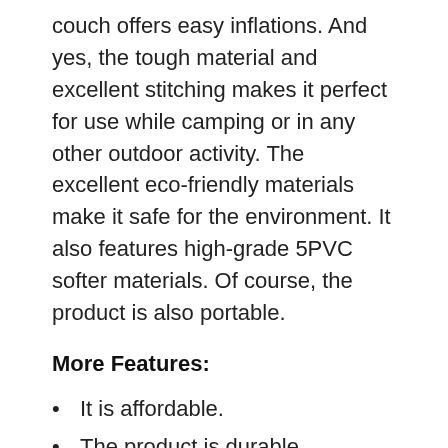couch offers easy inflations. And yes, the tough material and excellent stitching makes it perfect for use while camping or in any other outdoor activity. The excellent eco-friendly materials make it safe for the environment. It also features high-grade 5PVC softer materials. Of course, the product is also portable.
More Features:
It is affordable.
The product is durable.